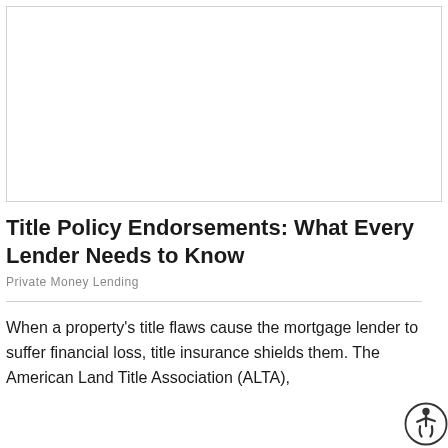[Figure (other): Blank white image placeholder area with thin border]
Title Policy Endorsements: What Every Lender Needs to Know
Private Money Lending
When a property's title flaws cause the mortgage lender to suffer financial loss, title insurance shields them. The American Land Title Association (ALTA),